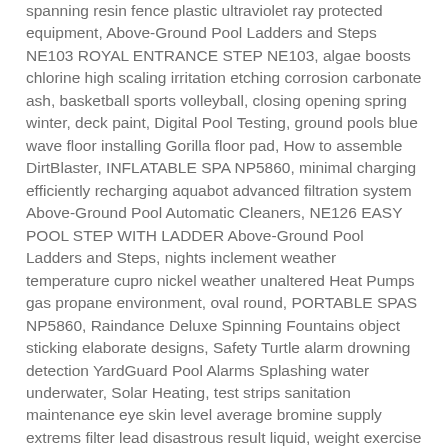spanning resin fence plastic ultraviolet ray protected equipment, Above-Ground Pool Ladders and Steps NE103 ROYAL ENTRANCE STEP NE103, algae boosts chlorine high scaling irritation etching corrosion carbonate ash, basketball sports volleyball, closing opening spring winter, deck paint, Digital Pool Testing, ground pools blue wave floor installing Gorilla floor pad, How to assemble DirtBlaster, INFLATABLE SPA NP5860, minimal charging efficiently recharging aquabot advanced filtration system Above-Ground Pool Automatic Cleaners, NE126 EASY POOL STEP WITH LADDER Above-Ground Pool Ladders and Steps, nights inclement weather temperature cupro nickel weather unaltered Heat Pumps gas propane environment, oval round, PORTABLE SPAS NP5860, Raindance Deluxe Spinning Fountains object sticking elaborate designs, Safety Turtle alarm drowning detection YardGuard Pool Alarms Splashing water underwater, Solar Heating, test strips sanitation maintenance eye skin level average bromine supply extrems filter lead disastrous result liquid, weight exercise health resistance foam material arms relaxation entertainment jogger belt games